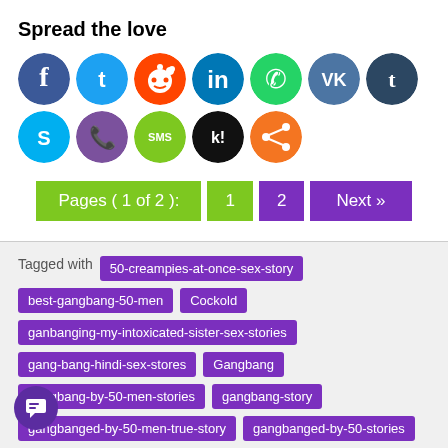Spread the love
[Figure (infographic): Row of social media sharing icons: Facebook, Twitter, Reddit, LinkedIn, WhatsApp, VK, Tumblr, Skype, Viber, SMS, Kik, Share]
Pages ( 1 of 2 ):  1  2  Next »
Tagged with 50-creampies-at-once-sex-story best-gangbang-50-men Cockold ganbanging-my-intoxicated-sister-sex-stories gang-bang-hindi-sex-stores Gangbang gangbang-by-50-men-stories gangbang-story gangbanged-by-50-men-true-story gangbanged-by-50-stories iend-50-men-gangbang-story groupsex. Hotwife indian-sex-stories-fucked-by-50men-on-trian